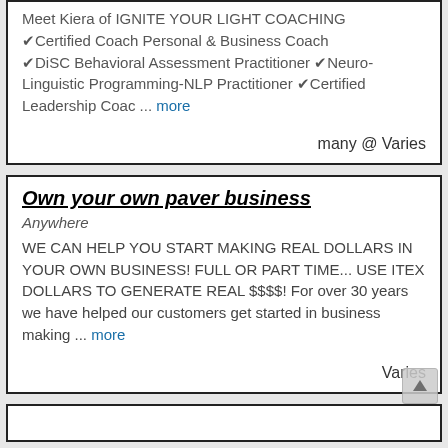Meet Kiera of IGNITE YOUR LIGHT COACHING ✔Certified Coach Personal & Business Coach ✔DiSC Behavioral Assessment Practitioner ✔Neuro-Linguistic Programming-NLP Practitioner ✔Certified Leadership Coac ... more
many @ Varies
Own your own paver business
Anywhere
WE CAN HELP YOU START MAKING REAL DOLLARS IN YOUR OWN BUSINESS! FULL OR PART TIME... USE ITEX DOLLARS TO GENERATE REAL $$$$! For over 30 years we have helped our customers get started in business making ... more
Varies